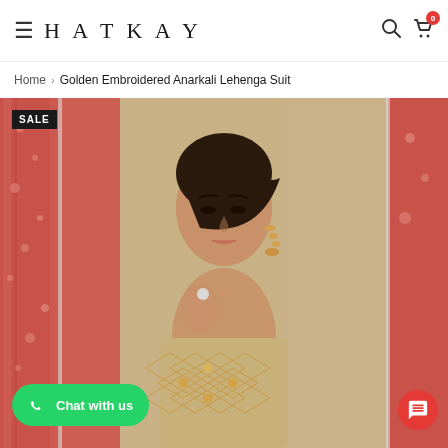HATKAY
Home › Golden Embroidered Anarkali Lehenga Suit
[Figure (photo): Product photo of a model wearing a Golden Embroidered Anarkali Lehenga Suit. The model has dark hair pulled back, is wearing gold chandelier earrings and a ring, and is dressed in a golden/beige heavily embroidered outfit with a lattice diamond pattern. Background is a red floral patterned wall. A black SALE badge appears top-left. A green WhatsApp 'Chat with us' button appears bottom-left. A red chat FAB button appears bottom-right.]